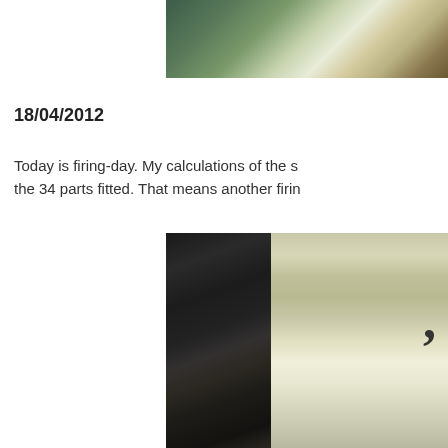[Figure (photo): Industrial machinery or manufacturing equipment, partially cropped at top of page]
18/04/2012
Today is firing-day. My calculations of the s... the 34 parts fitted. That means another firin...
[Figure (photo): Industrial forklift or heavy machinery on the left, factory or warehouse interior with clock on wall on the right]